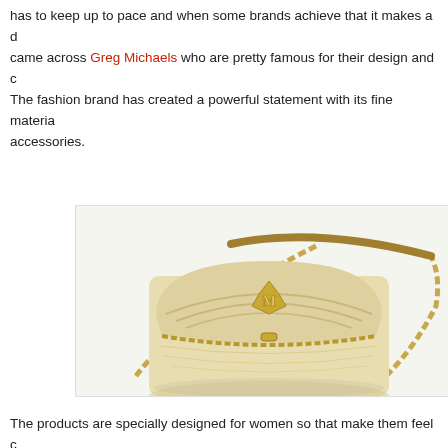has to keep up to pace and when some brands achieve that it makes a difference. I came across Greg Michaels who are pretty famous for their design and creativity. The fashion brand has created a powerful statement with its fine materials and accessories.
[Figure (photo): A gold/champagne metallic luxury handbag with chain strap and embossed logo, photographed on white background. Greg Michaels brand product.]
The products are specially designed for women so that make them feel confident. Handbags and accessories play a vital role in creating a fashion statement. They are creating products of pure leather and keep on inventing new designs which attracts customers. They are planning on expanding to women's clothing which will be great. You can follow them on social media http://facebook.com/gregmichaelsc...